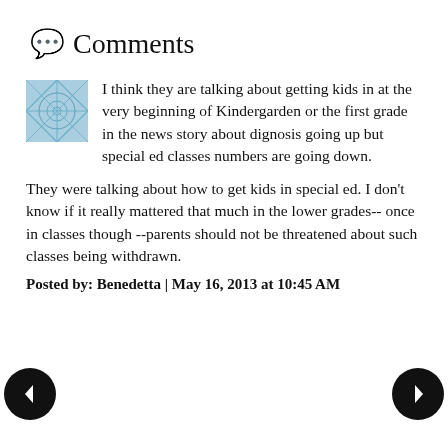💬 Comments
I think they are talking about getting kids in at the very beginning of Kindergarden or the first grade in the news story about dignosis going up but special ed classes numbers are going down.

They were talking about how to get kids in special ed. I don't know if it really mattered that much in the lower grades-- once in classes though --parents should not be threatened about such classes being withdrawn.
Posted by: Benedetta | May 16, 2013 at 10:45 AM